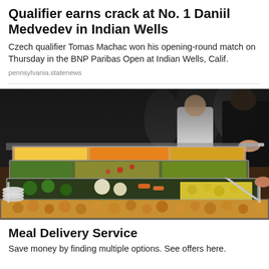Qualifier earns crack at No. 1 Daniil Medvedev in Indian Wells
Czech qualifier Tomas Machac won his opening-round match on Thursday in the BNP Paribas Open at Indian Wells, Calif.
pennsylvania.statenews
[Figure (photo): Photo of a buffet line with multiple stainless steel chafing dishes filled with various colorful foods including vegetables, grains, and roasted potatoes. People are seen serving themselves in the background.]
Meal Delivery Service
Save money by finding multiple options. See offers here.